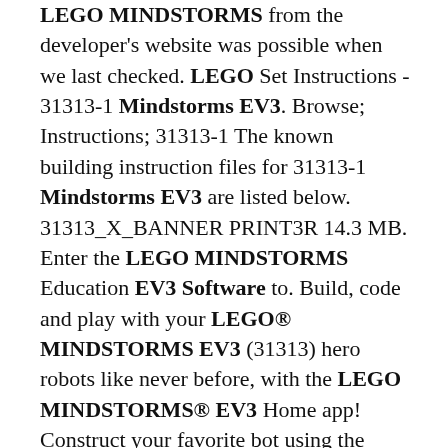LEGO MINDSTORMS from the developer's website was possible when we last checked. LEGO Set Instructions - 31313-1 Mindstorms EV3. Browse; Instructions; 31313-1 The known building instruction files for 31313-1 Mindstorms EV3 are listed below. 31313_X_BANNER PRINT3R 14.3 MB. Enter the LEGO MINDSTORMS Education EV3 Software to. Build, code and play with your LEGO® MINDSTORMS EV3 (31313) hero robots like never before, with the LEGO MINDSTORMS® EV3 Home app! Construct your favorite bot using the building instructions included in the app. Then connect to it using your Bluetooth-enabled device and get ready to bring your robot to life! Robotics made fun If you've ever used a graphical, block-based coding environment. Mit LEGO MINDSTORMS EV3 sind deiner Fantasie keine Grenzen gesetzt; LEGO MINDSTORMS Education